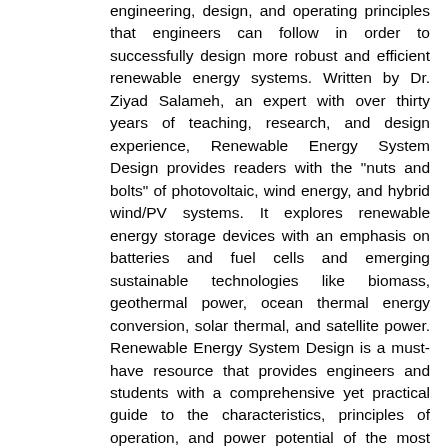engineering, design, and operating principles that engineers can follow in order to successfully design more robust and efficient renewable energy systems. Written by Dr. Ziyad Salameh, an expert with over thirty years of teaching, research, and design experience, Renewable Energy System Design provides readers with the "nuts and bolts" of photovoltaic, wind energy, and hybrid wind/PV systems. It explores renewable energy storage devices with an emphasis on batteries and fuel cells and emerging sustainable technologies like biomass, geothermal power, ocean thermal energy conversion, solar thermal, and satellite power. Renewable Energy System Design is a must-have resource that provides engineers and students with a comprehensive yet practical guide to the characteristics, principles of operation, and power potential of the most prevalent renewable energy systems. Explains and demonstrates design and operating principles for solar, wind, hybrid and emerging systems with diagrams and examples Utilizes case studies to help engineers anticipate and overcome common design challenges